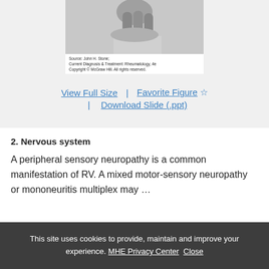[Figure (photo): Black and white medical photograph showing fingers/hand, with source attribution to John H. Stone, Current Diagnosis & Treatment: Rheumatology, 4e, Copyright McGraw Hill.]
Source: John H. Stone; Current Diagnosis & Treatment: Rheumatology, 4e Copyright © McGraw Hill. All rights reserved.
View Full Size | Favorite Figure ☆ | Download Slide (.ppt)
2. Nervous system
A peripheral sensory neuropathy is a common manifestation of RV. A mixed motor-sensory neuropathy or mononeuritis multiplex may …
This site uses cookies to provide, maintain and improve your experience. MHE Privacy Center Close